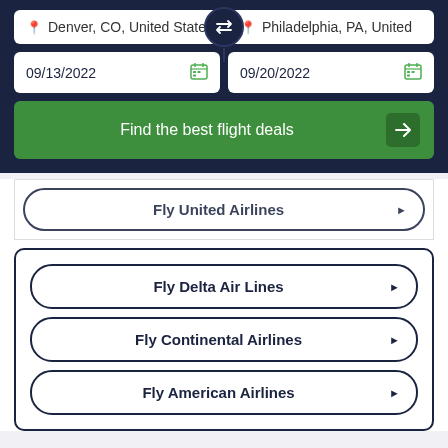Denver, CO, United State
Philadelphia, PA, United
09/13/2022
09/20/2022
Find the best flight deals
Fly United Airlines
Fly Delta Air Lines
Fly Continental Airlines
Fly American Airlines